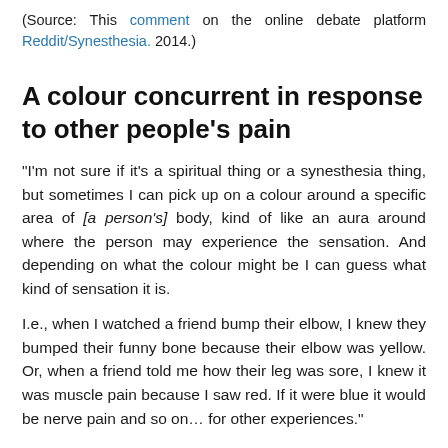(Source: This comment on the online debate platform Reddit/Synesthesia. 2014.)
A colour concurrent in response to other people's pain
“I’m not sure if it's a spiritual thing or a synesthesia thing, but sometimes I can pick up on a colour around a specific area of [a person's] body, kind of like an aura around where the person may experience the sensation. And depending on what the colour might be I can guess what kind of sensation it is.
I.e., when I watched a friend bump their elbow, I knew they bumped their funny bone because their elbow was yellow. Or, when a friend told me how their leg was sore, I knew it was muscle pain because I saw red. If it were blue it would be nerve pain and so on… for other experiences.”